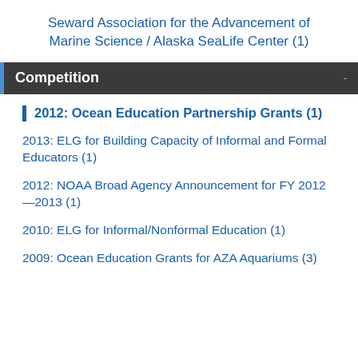Seward Association for the Advancement of Marine Science / Alaska SeaLife Center (1)
Competition
2012: Ocean Education Partnership Grants (1)
2013: ELG for Building Capacity of Informal and Formal Educators (1)
2012: NOAA Broad Agency Announcement for FY 2012—2013 (1)
2010: ELG for Informal/Nonformal Education (1)
2009: Ocean Education Grants for AZA Aquariums (3)